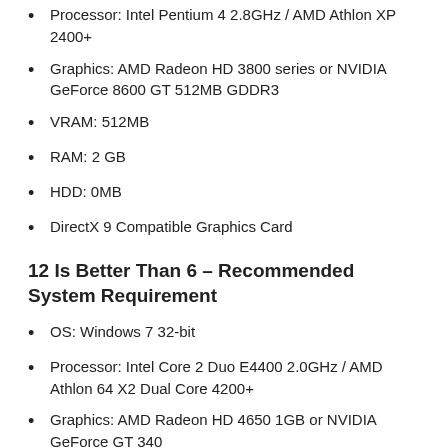Processor: Intel Pentium 4 2.8GHz / AMD Athlon XP 2400+
Graphics: AMD Radeon HD 3800 series or NVIDIA GeForce 8600 GT 512MB GDDR3
VRAM: 512MB
RAM: 2 GB
HDD: 0MB
DirectX 9 Compatible Graphics Card
12 Is Better Than 6 – Recommended System Requirement
OS: Windows 7 32-bit
Processor: Intel Core 2 Duo E4400 2.0GHz / AMD Athlon 64 X2 Dual Core 4200+
Graphics: AMD Radeon HD 4650 1GB or NVIDIA GeForce GT 340